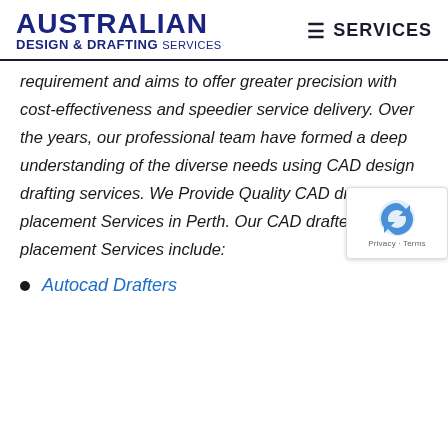AUSTRALIAN DESIGN & DRAFTING SERVICES | ≡ SERVICES
requirement and aims to offer greater precision with cost-effectiveness and speedier service delivery. Over the years, our professional team have formed a deep understanding of the diverse needs using CAD design drafting services. We Provide Quality CAD drafter placement Services in Perth. Our CAD drafter placement Services include:
Autocad Drafters